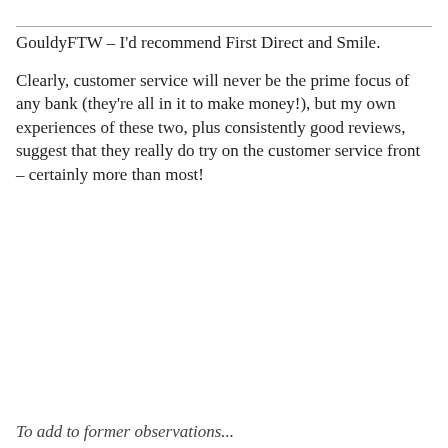GouldyFTW – I'd recommend First Direct and Smile.
Clearly, customer service will never be the prime focus of any bank (they're all in it to make money!), but my own experiences of these two, plus consistently good reviews, suggest that they really do try on the customer service front – certainly more than most!
To add to former observations...